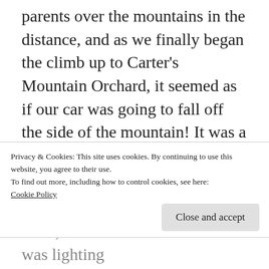parents over the mountains in the distance, and as we finally began the climb up to Carter's Mountain Orchard, it seemed as if our car was going to fall off the side of the mountain! It was a happy memory- so happy that I could see us moving there. So one day I told David it would be ok for him to look for a job in Charlottesville.
Two CPA firms were hiring. He send off his resumes on a Thursday, had two interviews set up on the following Monday, and we spent the
Privacy & Cookies: This site uses cookies. By continuing to use this website, you agree to their use.
To find out more, including how to control cookies, see here: Cookie Policy
there, but it seemed like the Lord was lighting